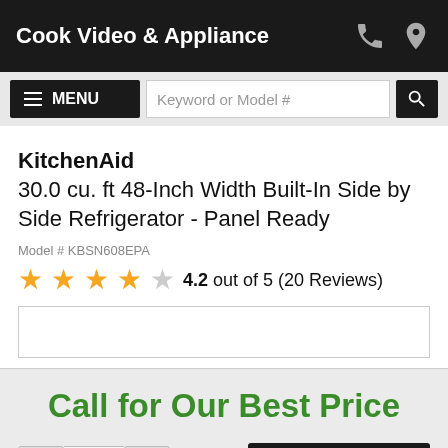Cook Video & Appliance
KitchenAid
30.0 cu. ft 48-Inch Width Built-In Side by Side Refrigerator - Panel Ready
Model # KBSN608EPA
4.2 out of 5 (20 Reviews)
Call for Our Best Price